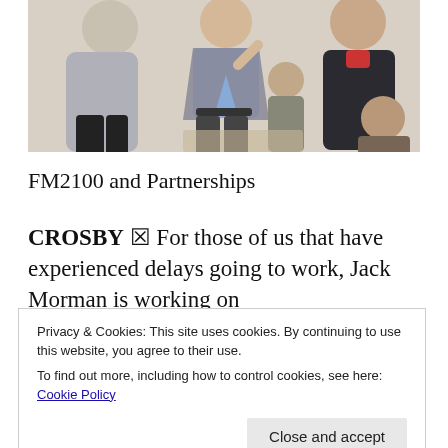[Figure (photo): Group of people standing and talking indoors; a man in a suit gestures while speaking to others]
FM2100 and Partnerships
CROSBY ☒ For those of us that have experienced delays going to work, Jack Morman is working on
Privacy & Cookies: This site uses cookies. By continuing to use this website, you agree to their use.
To find out more, including how to control cookies, see here: Cookie Policy
Close and accept
that are proposed as works in concert with other